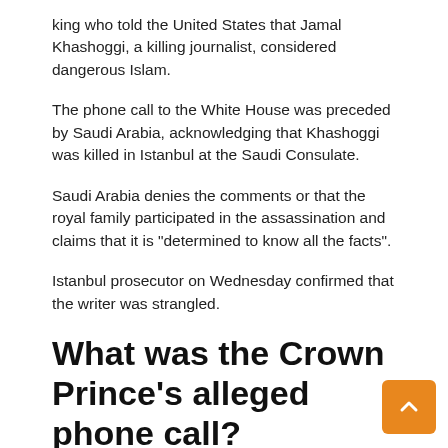king who told the United States that Jamal Khashoggi, a killing journalist, considered dangerous Islam.
The phone call to the White House was preceded by Saudi Arabia, acknowledging that Khashoggi was killed in Istanbul at the Saudi Consulate.
Saudi Arabia denies the comments or that the royal family participated in the assassination and claims that it is "determined to know all the facts".
Istanbul prosecutor on Wednesday confirmed that the writer was strangled.
What was the Crown Prince's alleged phone call?
President Donald Trump, President of Jared Kushner, and John Bolton's National Security Adviser, Prince Mohammed said Khashoggi was a member of the Washington Brotherhood, a transnational